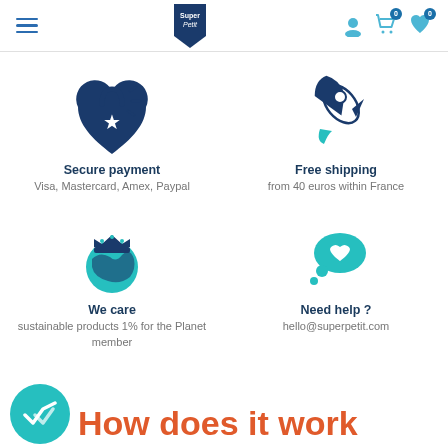Super Petit — navigation header with hamburger menu, logo, user icon, cart (0), wishlist (0)
[Figure (illustration): Heart-shaped padlock icon with a star in the center, dark navy blue, with sparkle lines]
Secure payment
Visa, Mastercard, Amex, Paypal
[Figure (illustration): Rocket launching diagonally, dark navy blue outline with teal flame]
Free shipping
from 40 euros within France
[Figure (illustration): Globe with ocean and land in teal/blue, wearing a dark navy crown]
We care
sustainable products 1% for the Planet member
[Figure (illustration): Teal speech/thought bubble with a white heart, and two smaller teal circles below]
Need help ?
hello@superpetit.com
[Figure (illustration): Teal circle with white double checkmark icon]
How does it work